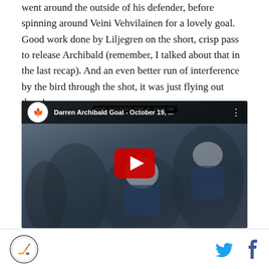went around the outside of his defender, before spinning around Veini Vehvilainen for a lovely goal. Good work done by Liljegren on the short, crisp pass to release Archibald (remember, I talked about that in the last recap). And an even better run of interference by the bird through the shot, it was just flying out there!
[Figure (screenshot): YouTube video embed showing 'Darren Archibald Goal - October 19, ...' with hockey players celebrating in the background and a large red play button in the center. Score bar shows NYR 2 CLE 0(1) TOR with time 16:59 2M.]
Site logo (circle with hockey figure) on left; Twitter bird icon and Facebook f icon on right